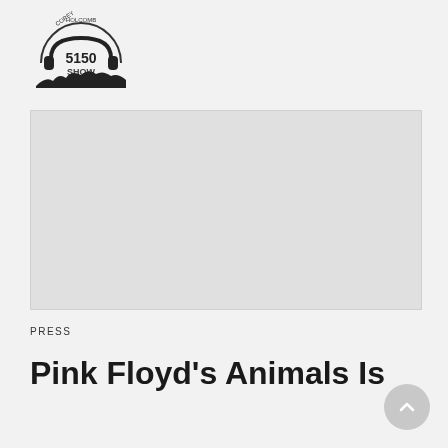Corey Holcomb 5150 Show logo
[Figure (illustration): Light gray image placeholder rectangle representing an article thumbnail or video embed area]
PRESS
Pink Floyd's Animals Is